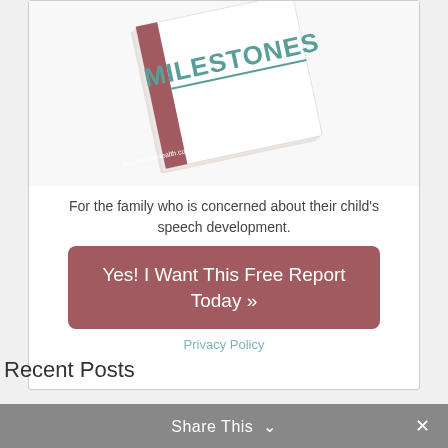[Figure (illustration): A tilted book cover showing 'MILESTONES' in teal text on white background with a red/mauve spine, and 'JasonMillerHealth.com Where Parents Come for Answers' at the bottom.]
For the family who is concerned about their child's speech development.
Yes! I Want This Free Report Today »
Privacy Policy
Recent Posts
Share This ✓  ✕